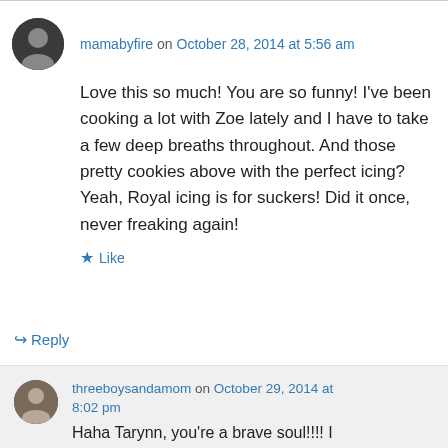mamabyfire on October 28, 2014 at 5:56 am
Love this so much! You are so funny! I've been cooking a lot with Zoe lately and I have to take a few deep breaths throughout. And those pretty cookies above with the perfect icing? Yeah, Royal icing is for suckers! Did it once, never freaking again!
Like
Reply
threeboysandamom on October 29, 2014 at 8:02 pm
Haha Tarynn, you're a brave soul!!!! I